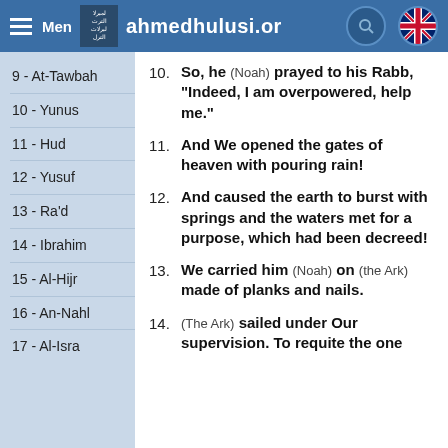Menu  ahmedhulusi.org
9 - At-Tawbah
10 - Yunus
11 - Hud
12 - Yusuf
13 - Ra'd
14 - Ibrahim
15 - Al-Hijr
16 - An-Nahl
17 - Al-Isra
10. So, he (Noah) prayed to his Rabb, "Indeed, I am overpowered, help me."
11. And We opened the gates of heaven with pouring rain!
12. And caused the earth to burst with springs and the waters met for a purpose, which had been decreed!
13. We carried him (Noah) on (the Ark) made of planks and nails.
14. (The Ark) sailed under Our supervision. To requite the one